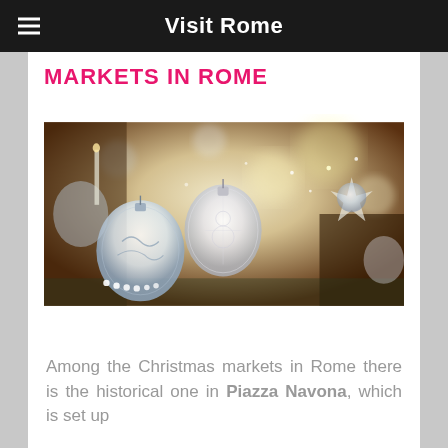Visit Rome
MARKETS IN ROME
[Figure (photo): Close-up photograph of glittery Christmas ornaments and decorations hanging, including white and silver baubles, lace-patterned balls, and star-shaped decorations with bokeh background lighting.]
Among the Christmas markets in Rome there is the historical one in Piazza Navona, which is set up